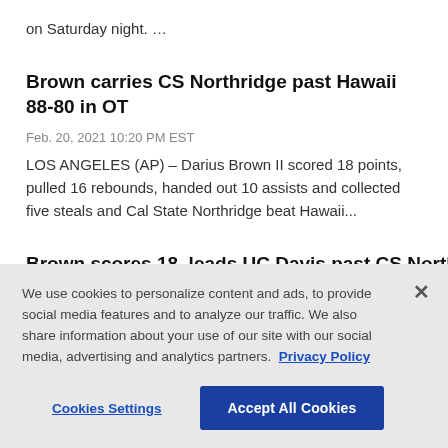on Saturday night. …
Brown carries CS Northridge past Hawaii 88-80 in OT
Feb. 20, 2021 10:20 PM EST
LOS ANGELES (AP) – Darius Brown II scored 18 points, pulled 16 rebounds, handed out 10 assists and collected five steals and Cal State Northridge beat Hawaii...
Brown scores 18, leads UC Davis past CS Northridge...
We use cookies to personalize content and ads, to provide social media features and to analyze our traffic. We also share information about your use of our site with our social media, advertising and analytics partners. Privacy Policy
Cookies Settings  Accept All Cookies